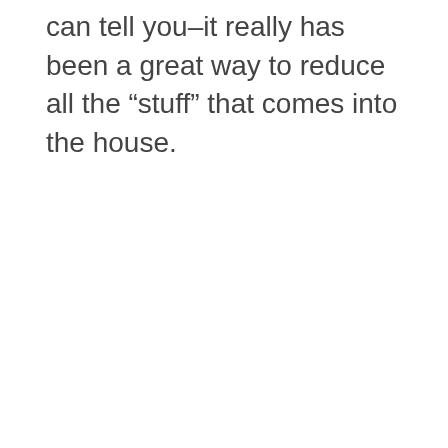can tell you–it really has been a great way to reduce all the “stuff” that comes into the house.